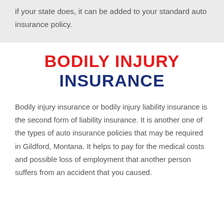if your state does, it can be added to your standard auto insurance policy.
BODILY INJURY INSURANCE
Bodily injury insurance or bodily injury liability insurance is the second form of liability insurance. It is another one of the types of auto insurance policies that may be required in Gildford, Montana. It helps to pay for the medical costs and possible loss of employment that another person suffers from an accident that you caused.